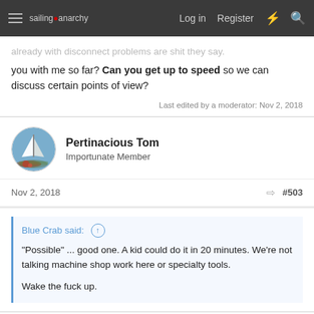sailing anarchy — Log in | Register
...already with disconnect problems are shit they say. Are you with me so far? Can you get up to speed so we can discuss certain points of view?
Last edited by a moderator: Nov 2, 2018
Pertinacious Tom
Importunate Member
Nov 2, 2018   #503
Blue Crab said: ↑
"Possible" ... good one. A kid could do it in 20 minutes. We're not talking machine shop work here or specialty tools.

Wake the fuck up.